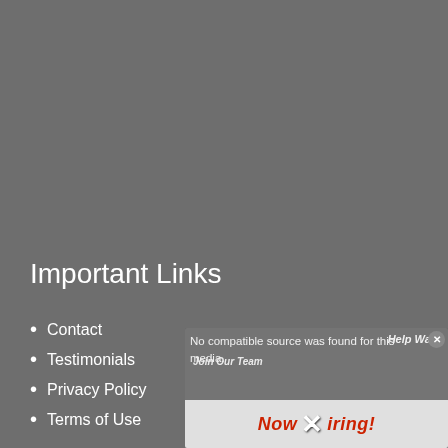Important Links
Contact
Testimonials
Privacy Policy
Terms of Use
[Figure (screenshot): A video player overlay popup showing 'No compatible source was found for this media.' error message with a close button, overlaid on a 'Now Hiring!' background image with 'Help Wanted' and 'Join Our Team' text visible. A large X button is visible at the bottom center.]